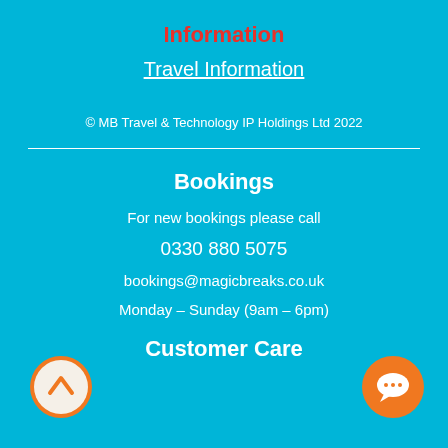Information
Travel Information
© MB Travel & Technology IP Holdings Ltd 2022
Bookings
For new bookings please call
0330 880 5075
bookings@magicbreaks.co.uk
Monday - Sunday (9am - 6pm)
Customer Care